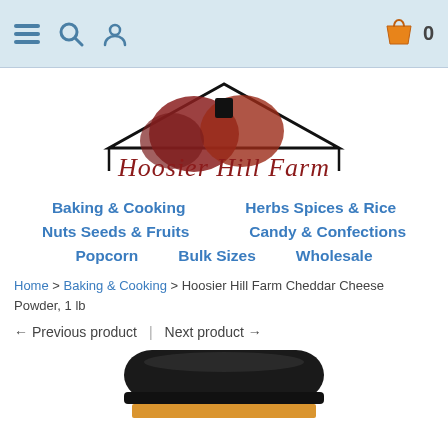Navigation bar with hamburger menu, search, user icons and shopping cart (0 items)
[Figure (logo): Hoosier Hill Farm logo: barn rooftop silhouette with red/brown hills, script text 'Hoosier Hill Farm']
Baking & Cooking
Herbs Spices & Rice
Nuts Seeds & Fruits
Candy & Confections
Popcorn
Bulk Sizes
Wholesale
Home > Baking & Cooking > Hoosier Hill Farm Cheddar Cheese Powder, 1 lb
← Previous product  |  Next product →
[Figure (photo): Top of a jar with black lid containing Cheddar Cheese Powder, partially visible]